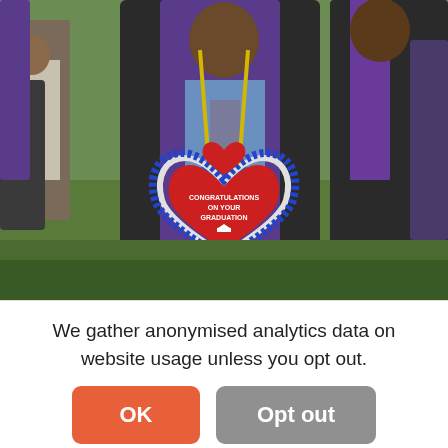[Figure (photo): A graduate wearing a black academic gown with purple trim and a purple stole, holding a large red heart-shaped congratulations on your graduation decoration made of fabric with blue lace trim. The person is surrounded by other graduates and attendees on a grassy outdoor area. Several people in similar academic regalia are visible in the background.]
We gather anonymised analytics data on website usage unless you opt out.